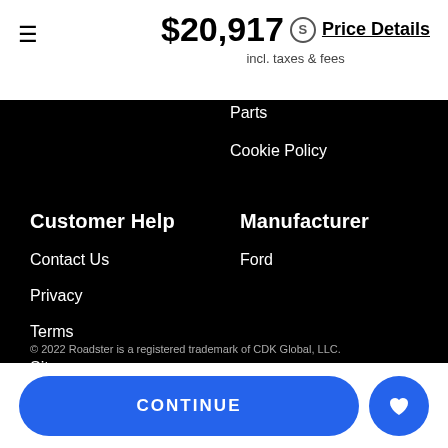$20,917 incl. taxes & fees  Price Details
Parts
Cookie Policy
Customer Help
Contact Us
Privacy
Terms
Sitemap
Manufacturer
Ford
Language
English
© 2022 Roadster is a registered trademark of CDK Global, LLC.
CONTINUE